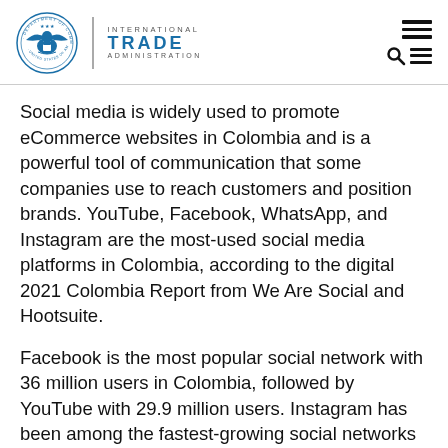International Trade Administration
Social media is widely used to promote eCommerce websites in Colombia and is a powerful tool of communication that some companies use to reach customers and position brands. YouTube, Facebook, WhatsApp, and Instagram are the most-used social media platforms in Colombia, according to the digital 2021 Colombia Report from We Are Social and Hootsuite.
Facebook is the most popular social network with 36 million users in Colombia, followed by YouTube with 29.9 million users. Instagram has been among the fastest-growing social networks with